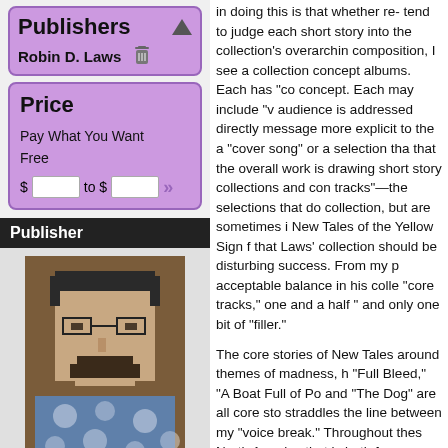Publishers
Robin D. Laws
Price
Pay What You Want
Free
Publisher
[Figure (photo): Pixelated portrait of a man wearing a floral shirt and glasses]
Publisher Website
in doing this is that whether re- tend to judge each short story into the collection's overarchin composition, I see a collection concept albums. Each has "co concept. Each may include "v audience is addressed directly message more explicit to the a "cover song" or a selection tha that the overall work is drawing short story collections and con tracks"—the selections that do collection, but are sometimes i New Tales of the Yellow Sign f that Laws' collection should be disturbing success. From my p acceptable balance in his colle "core tracks," one and a half " and only one bit of "filler."
The core stories of New Tales around themes of madness, h "Full Bleed," "A Boat Full of Po and "The Dog" are all core sto straddles the line between my "voice break." Throughout thes North America that is both fam enough of our modern world e the weird and metaphysical ac through as more disturbing tha vacuum. Through these stories disturbing, and sometimes red society through the lens of p